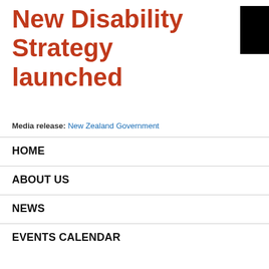New Disability Strategy launched
Media release: New Zealand Government
HOME
ABOUT US
NEWS
EVENTS CALENDAR
BLOGS & ARTICLES
FELLOWSHIPS
AWARDS
NEWSLETTERS